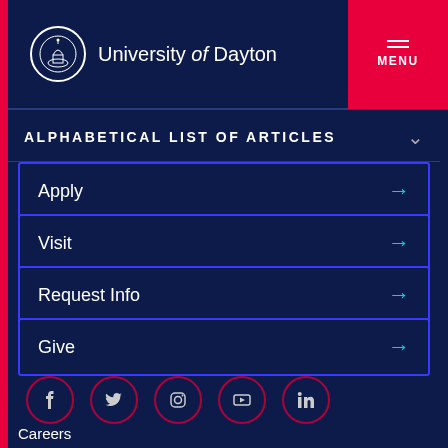University of Dayton | MENU
ALPHABETICAL LIST OF ARTICLES
Apply
Visit
Request Info
Give
[Figure (other): Social media icons: Facebook, Twitter, Instagram, YouTube, LinkedIn — each in a circle with dark red/pink border]
Careers